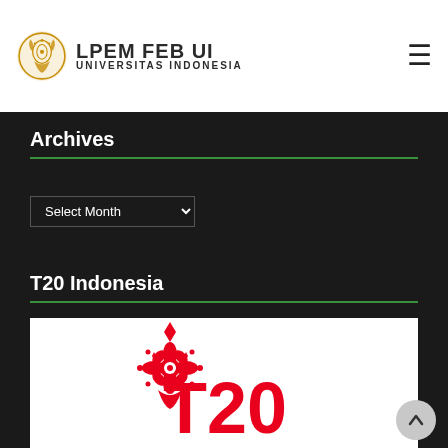[Figure (logo): LPEM FEB UI Universitas Indonesia logo with golden emblem and text]
Archives
Select Month (dropdown)
T20 Indonesia
[Figure (logo): T20 Indonesia logo with red decorative batik pattern above T20 text on white background]